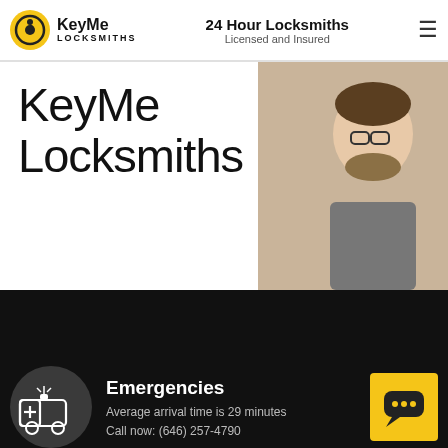KeyMe Locksmiths | 24 Hour Locksmiths Licensed and Insured
KeyMe Locksmiths
[Figure (photo): Photo of a man with beard and glasses working]
4.6 out of 5 from over 71,000 reviews
Call 24hrs: (646) 257-4790
Copying a Key? See the nearest kiosk below
Emergencies
Average arrival time is 29 minutes
Call now: (646) 257-4790
[Figure (illustration): Emergency vehicle/ambulance icon in dark circle]
[Figure (illustration): Yellow chat button icon]